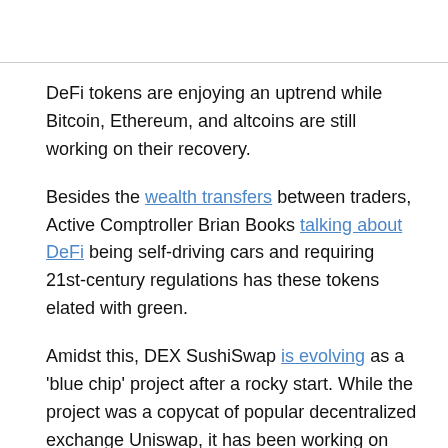DeFi tokens are enjoying an uptrend while Bitcoin, Ethereum, and altcoins are still working on their recovery.
Besides the wealth transfers between traders, Active Comptroller Brian Books talking about DeFi being self-driving cars and requiring 21st-century regulations has these tokens elated with green.
Amidst this, DEX SushiSwap is evolving as a 'blue chip' project after a rocky start. While the project was a copycat of popular decentralized exchange Uniswap, it has been working on differentiating itself, which, as we reported, is helping it gain the market share in DEX